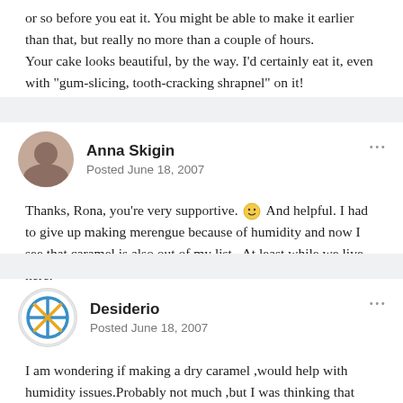or so before you eat it. You might be able to make it earlier than that, but really no more than a couple of hours.
Your cake looks beautiful, by the way. I'd certainly eat it, even with "gum-slicing, tooth-cracking shrapnel" on it!
Anna Skigin
Posted June 18, 2007
Thanks, Rona, you're very supportive. 🙂 And helpful. I had to give up making merengue because of humidity and now I see that caramel is also out of my list . At least while we live here.
Desiderio
Posted June 18, 2007
I am wondering if making a dry caramel ,would help with humidity issues.Probably not much ,but I was thinking that might be something you can use to keep the caramel from sticking.